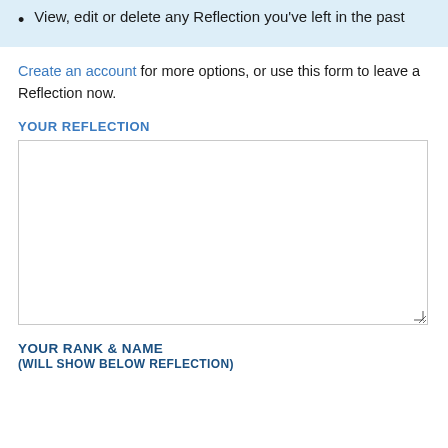View, edit or delete any Reflection you've left in the past
Create an account for more options, or use this form to leave a Reflection now.
YOUR REFLECTION
[Figure (other): Empty textarea form field for submitting a reflection]
YOUR RANK & NAME
(WILL SHOW BELOW REFLECTION)